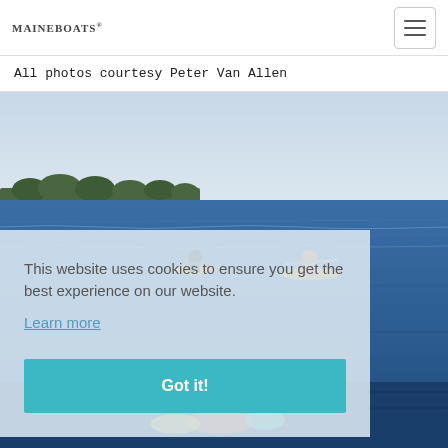MaineBoats
All photos courtesy Peter Van Allen
[Figure (photo): Ocean scene with two people kayaking or paddling on calm blue water, distant tree-lined shore visible on the horizon under a pale sky]
This website uses cookies to ensure you get the best experience on our website. Learn more
Got it!